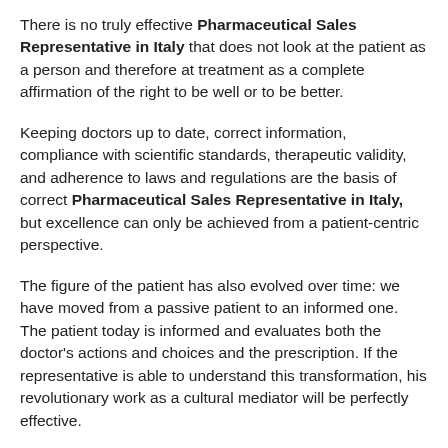There is no truly effective Pharmaceutical Sales Representative in Italy that does not look at the patient as a person and therefore at treatment as a complete affirmation of the right to be well or to be better.
Keeping doctors up to date, correct information, compliance with scientific standards, therapeutic validity, and adherence to laws and regulations are the basis of correct Pharmaceutical Sales Representative in Italy, but excellence can only be achieved from a patient-centric perspective.
The figure of the patient has also evolved over time: we have moved from a passive patient to an informed one. The patient today is informed and evaluates both the doctor's actions and choices and the prescription. If the representative is able to understand this transformation, his revolutionary work as a cultural mediator will be perfectly effective.
Talking to the DOCTOR